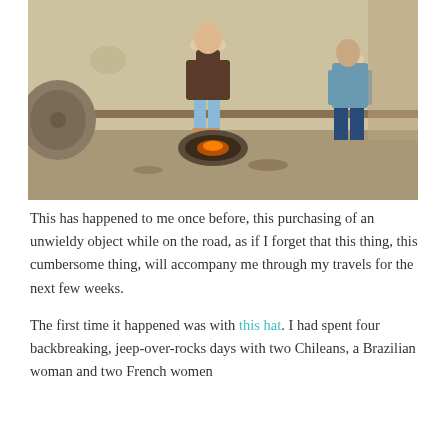[Figure (photo): A person wearing a dark apron stands over a fire pit on a concrete floor inside a room with pale yellow walls. A large stone wheel leans against the left wall. Another person stands in the background near a doorway on the right.]
This has happened to me once before, this purchasing of an unwieldy object while on the road, as if I forget that this thing, this cumbersome thing, will accompany me through my travels for the next few weeks.
The first time it happened was with this hat. I had spent four backbreaking, jeep-over-rocks days with two Chileans, a Brazilian woman and two French women